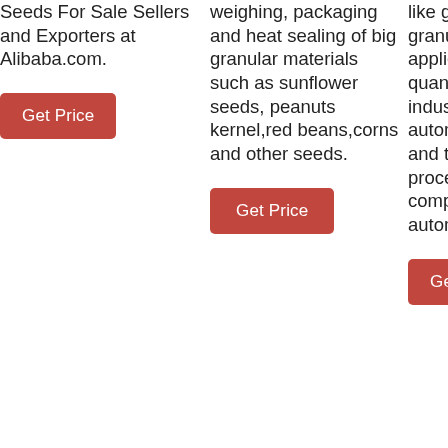Seeds For Sale Sellers and Exporters at Alibaba.com.
Get Price
weighing, packaging and heat sealing of big granular materials such as sunflower seeds, peanuts kernel,red beans,corns and other seeds.
Get Price
like grains and other granule material. It is applied to the automatic quantitative packaging of industrial and agricultural automation production, and the whole weighing process is controlled by computer and automatically completed.
Get Price